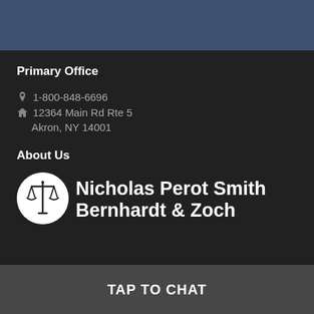Primary Office
1-800-848-6696
12364 Main Rd Rte 5
Akron, NY 14001
About Us
[Figure (logo): Scales of justice logo in white circle for Nicholas Perot Smith Bernhardt & Zoch law firm]
Nicholas Perot Smith Bernhardt & Zoch
TAP TO CHAT